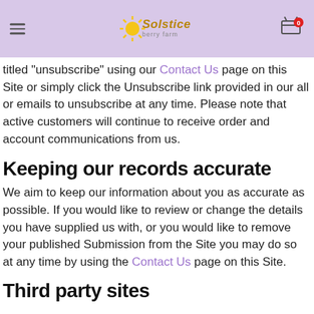Solstice berry farm
titled "unsubscribe" using our Contact Us page on this Site or simply click the Unsubscribe link provided in our all or emails to unsubscribe at any time. Please note that active customers will continue to receive order and account communications from us.
Keeping our records accurate
We aim to keep our information about you as accurate as possible. If you would like to review or change the details you have supplied us with, or you would like to remove your published Submission from the Site you may do so at any time by using the Contact Us page on this Site.
Third party sites